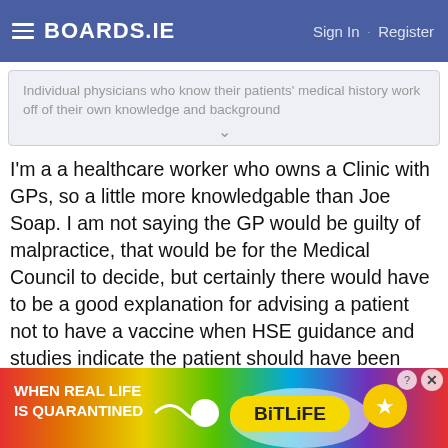BOARDS.IE  Sign In · Register
Individual physicians who know their patients' medical history work off of their own knowledge and background
I'm a a healthcare worker who owns a Clinic with GPs, so a little more knowledgable than Joe Soap. I am not saying the GP would be guilty of malpractice, that would be for the Medical Council to decide, but certainly there would have to be a good explanation for advising a patient not to have a vaccine when HSE guidance and studies indicate the patient should have been advised to have a vaccine.
Advertisement